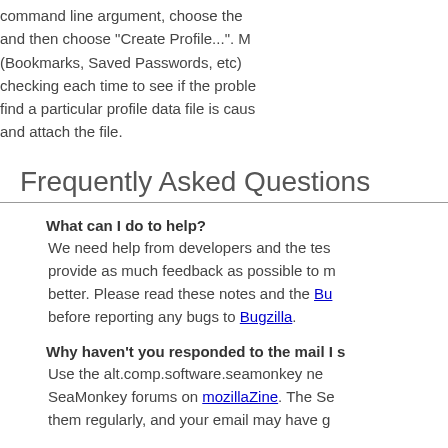command line argument, choose the and then choose "Create Profile...". M (Bookmarks, Saved Passwords, etc) checking each time to see if the proble find a particular profile data file is caus and attach the file.
Frequently Asked Questions
What can I do to help? We need help from developers and the tes provide as much feedback as possible to m better. Please read these notes and the Bu before reporting any bugs to Bugzilla.
Why haven't you responded to the mail I s Use the alt.comp.software.seamonkey ne SeaMonkey forums on mozillaZine. The Se them regularly, and your email may have g
Where can I get extensions and themes (a Extensions and Themes can be downloade ons.
Who makes SeaMonkey? Lots of people. See Help->About SeaMonk of some of the people who have contribute SeaMonkey.
Where's the SeaMonkey 2.53.12 source co